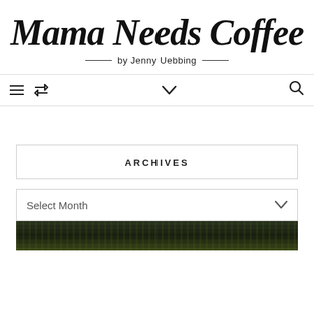Mama Needs Coffee
by Jenny Uebbing
Navigation bar with menu, retweet, chevron, and search icons
ARCHIVES
Select Month
[Figure (photo): Dark green textured background photo, partially visible at bottom of page]